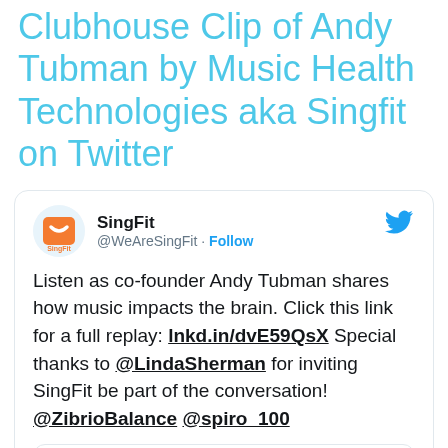Clubhouse Clip of Andy Tubman by Music Health Technologies aka Singfit on Twitter
[Figure (screenshot): Embedded tweet from @WeAreSingFit (SingFit) with Twitter logo, avatar showing SingFit logo, tweet text about Andy Tubman and music impacts on brain, with a Watch on Twitter card at bottom showing Rethinking Aging]